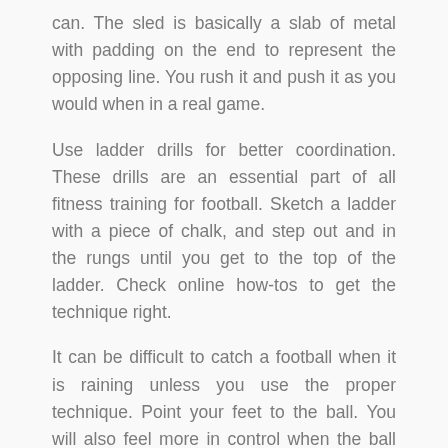can. The sled is basically a slab of metal with padding on the end to represent the opposing line. You rush it and push it as you would when in a real game.
Use ladder drills for better coordination. These drills are an essential part of all fitness training for football. Sketch a ladder with a piece of chalk, and step out and in the rungs until you get to the top of the ladder. Check online how-tos to get the technique right.
It can be difficult to catch a football when it is raining unless you use the proper technique. Point your feet to the ball. You will also feel more in control when the ball lands in your hands. Put your hips and chest in that same position. Put one hand on either side of the ball, facing front.
While you can't alter your height, you can improve your game. You can become stronger, faster, wider, and more talented with the right type of practice. If you eat well,